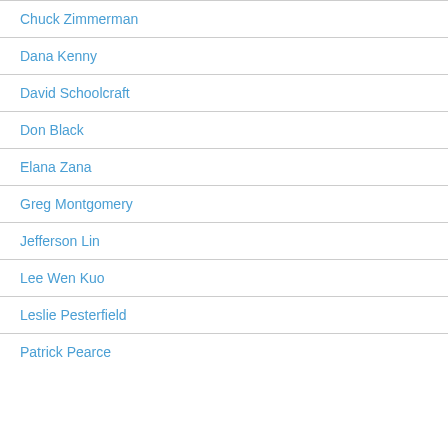Chuck Zimmerman
Dana Kenny
David Schoolcraft
Don Black
Elana Zana
Greg Montgomery
Jefferson Lin
Lee Wen Kuo
Leslie Pesterfield
Patrick Pearce